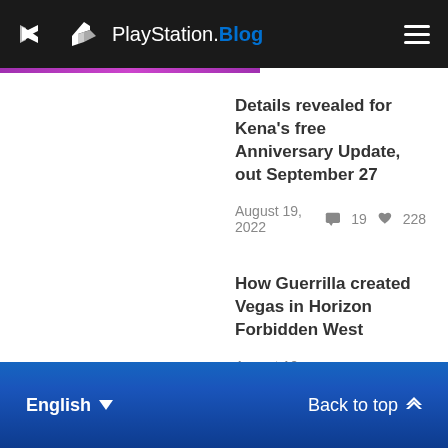PlayStation.Blog
Details revealed for Kena's free Anniversary Update, out September 27 — August 19, 2022 · 19 comments · 228 likes
How Guerrilla created Vegas in Horizon Forbidden West — August 10, 2022 · 23 comments · 186 likes
English — Back to top